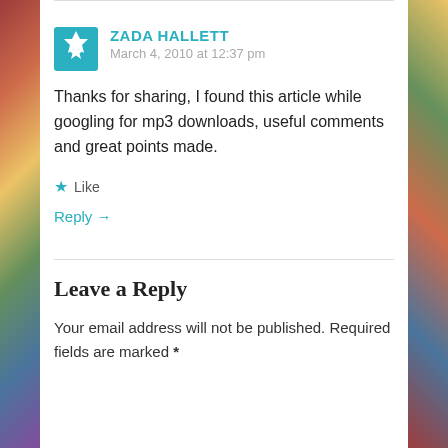ZADA HALLETT
March 4, 2010 at 12:37 pm

Thanks for sharing, I found this article while googling for mp3 downloads, useful comments and great points made.

★ Like

Reply →
Leave a Reply
Your email address will not be published. Required fields are marked *